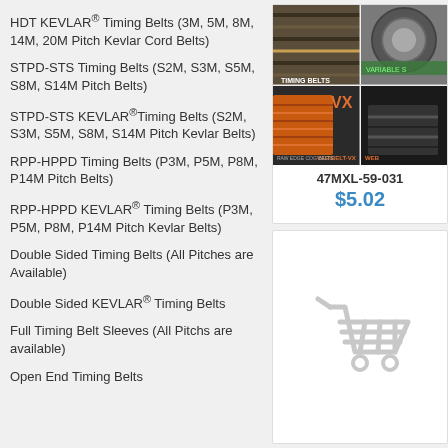HDT KEVLAR® Timing Belts (3M, 5M, 8M, 14M, 20M Pitch Kevlar Cord Belts)
STPD-STS Timing Belts (S2M, S3M, S5M, S8M, S14M Pitch Belts)
STPD-STS KEVLAR®Timing Belts (S2M, S3M, S5M, S8M, S14M Pitch Kevlar Belts)
RPP-HPPD Timing Belts (P3M, P5M, P8M, P14M Pitch Belts)
RPP-HPPD KEVLAR® Timing Belts (P3M, P5M, P8M, P14M Pitch Kevlar Belts)
Double Sided Timing Belts (All Pitches are Available)
Double Sided KEVLAR® Timing Belts
Full Timing Belt Sleeves (All Pitchs are available)
Open End Timing Belts
[Figure (photo): Collage of belt product images including Variable Speed belts and Varibelt VX Raw Edge Cog Belts]
47MXL-59-031
$5.02
[Figure (illustration): Shopping cart icon in light gray]